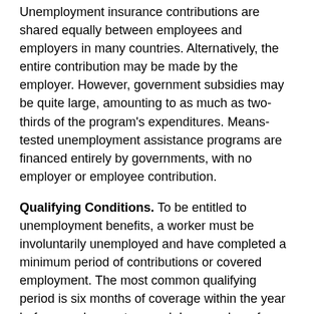Unemployment insurance contributions are shared equally between employees and employers in many countries. Alternatively, the entire contribution may be made by the employer. However, government subsidies may be quite large, amounting to as much as two-thirds of the program's expenditures. Means-tested unemployment assistance programs are financed entirely by governments, with no employer or employee contribution.
Qualifying Conditions. To be entitled to unemployment benefits, a worker must be involuntarily unemployed and have completed a minimum period of contributions or covered employment. The most common qualifying period is six months of coverage within the year before employment ceased. In a number of industrialized countries, however, students recently out of school who are unable to find jobs may be eligible for unemployment benefits, even without a work record. This benefit provides a transition from school to work, particularly in periods of recession.
Nearly all unemployment insurance programs, as well as those providing unemployment assistance, require that applicants be capable of, and available for, work. An